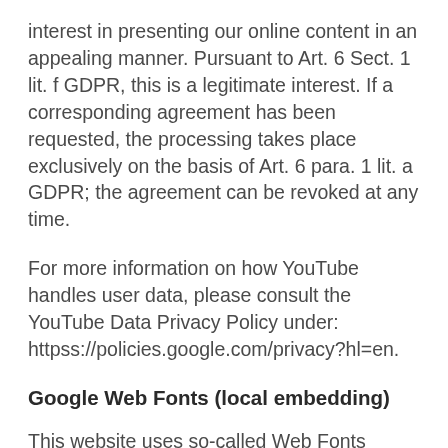interest in presenting our online content in an appealing manner. Pursuant to Art. 6 Sect. 1 lit. f GDPR, this is a legitimate interest. If a corresponding agreement has been requested, the processing takes place exclusively on the basis of Art. 6 para. 1 lit. a GDPR; the agreement can be revoked at any time.
For more information on how YouTube handles user data, please consult the YouTube Data Privacy Policy under: httpss://policies.google.com/privacy?hl=en.
Google Web Fonts (local embedding)
This website uses so-called Web Fonts provided by Google to ensure the uniform use of fonts on this site. These Google